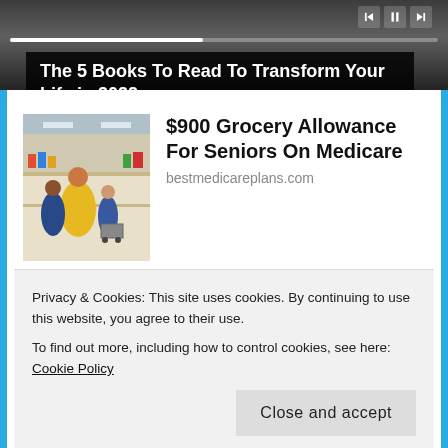[Figure (screenshot): Media player screenshot showing a dark blurred background with progress bar and playback controls (previous, pause, next buttons)]
The 5 Books To Read To Transform Your Life in 2022
[Figure (photo): Photo of grocery store shoppers in aisle]
$900 Grocery Allowance For Seniors On Medicare
bestmedicareplans.com
[Figure (photo): Light blue/sky colored thumbnail image]
Humanoid 'aliens' washes up on Australian beaches -
Privacy & Cookies: This site uses cookies. By continuing to use this website, you agree to their use.
To find out more, including how to control cookies, see here: Cookie Policy
Close and accept
Share this: